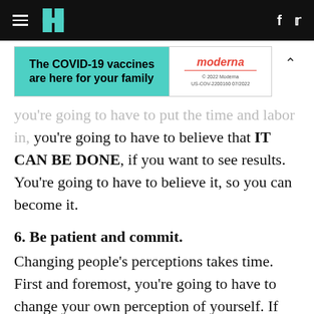HuffPost navigation header with hamburger menu, logo, Facebook and Twitter icons
[Figure (infographic): Advertisement banner: 'The COVID-19 vaccines are here for your family' (teal background) with Moderna logo and copyright text '© 2022 Moderna US-COV-2200160 07/2022']
you're going to have to put the time and labor in, you're going to have to believe that IT CAN BE DONE, if you want to see results. You're going to have to believe it, so you can become it.
6. Be patient and commit.
Changing people's perceptions takes time. First and foremost, you're going to have to change your own perception of yourself. If you believe you're meant for the top, you'll get there. If you believe you're a loser, headed nowhere but down, you'll also get there. How you think of yourself is how you'll present to others. You're